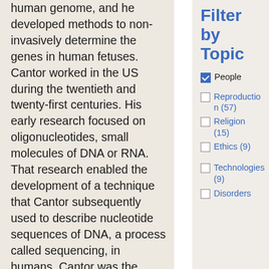human genome, and he developed methods to non-invasively determine the genes in human fetuses. Cantor worked in the US during the twentieth and twenty-first centuries. His early research focused on oligonucleotides, small molecules of DNA or RNA. That research enabled the development of a technique that Cantor subsequently used to describe nucleotide sequences of DNA, a process called sequencing, in humans. Cantor was the principal scientist for the Human Genome Project, for which
Filter by Topic
People (checked)
Reproduction (57)
Religion (15)
Ethics (9)
Technologies (9)
Disorders